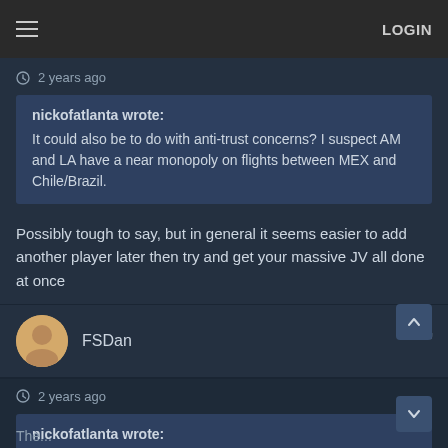LOGIN
2 years ago
nickofatlanta wrote:
It could also be to do with anti-trust concerns? I suspect AM and LA have a near monopoly on flights between MEX and Chile/Brazil.
Possibly tough to say, but in general it seems easier to add another player later then try and get your massive JV all done at once
FSDan
2 years ago
nickofatlanta wrote:
It could also be to do with anti-trust concerns? I suspect AM and LA have a near monopoly on flights between MEX and Chile/Brazil.
The...